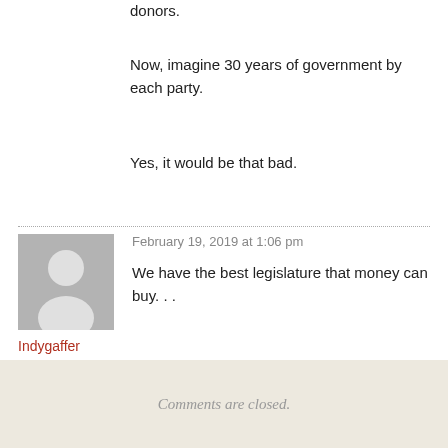donors.
Now, imagine 30 years of government by each party.
Yes, it would be that bad.
February 19, 2019 at 1:06 pm
Indygaffer
We have the best legislature that money can buy. . .
Comments are closed.